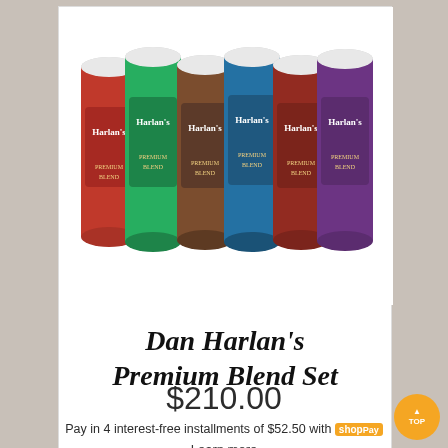[Figure (photo): Six colorful cylindrical cans of Harlan's Premium Blend coffee/product arranged in a row, each in different colors: red, green, brown, blue, red/maroon, purple. Each can has the 'Harlan's' label on it.]
Dan Harlan's Premium Blend Set
$210.00
Pay in 4 interest-free installments of $52.50 with shop Pay
Learn more
Qty